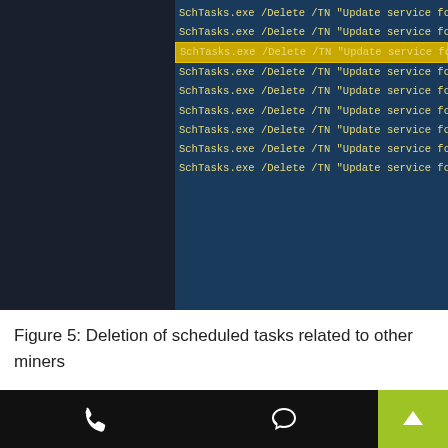[Figure (screenshot): Terminal/command prompt screenshot showing multiple SchTasks.exe /Delete /TN commands for 'Update service for Oracle products' entries, with the third line highlighted in yellow border.]
Figure 5: Deletion of scheduled tasks related to other miners
In Figure 4, the cryptominer creates a scheduled task with name “Update service for Oracle products1”.  In Figure 5, a different variant deletes this task and other similar tasks after creating its own, “Update service for Oracle productsa”.